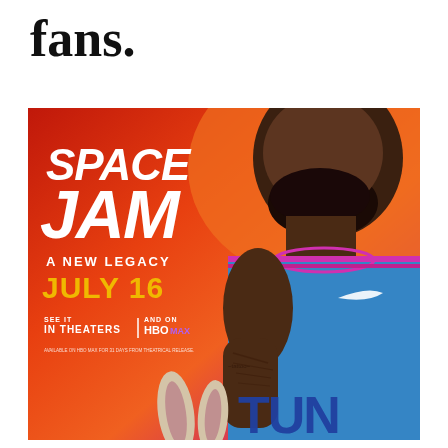fans.
[Figure (photo): Space Jam: A New Legacy movie poster featuring LeBron James in a blue Tune Squad basketball jersey with tattoos visible on his arm, alongside Bugs Bunny ears at the bottom. Background is a red-to-orange-to-purple gradient. Text reads: SPACE JAM, A NEW LEGACY, JULY 16, SEE IT IN THEATERS AND ON HBO MAX. Available on HBO Max for 31 days from theatrical release.]